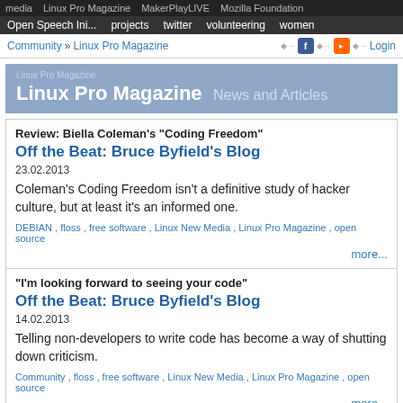media  Linux Pro Magazine  MakerPlayLIVE  Mozilla Foundation  Open Speech Ini...  projects  twitter  volunteering  women
Community » Linux Pro Magazine   Login
Linux Pro Magazine News and Articles
Review: Biella Coleman's "Coding Freedom"
Off the Beat: Bruce Byfield's Blog
23.02.2013
Coleman's Coding Freedom isn't a definitive study of hacker culture, but at least it's an informed one.
DEBIAN , floss , free software , Linux New Media , Linux Pro Magazine , open source
more...
"I'm looking forward to seeing your code"
Off the Beat: Bruce Byfield's Blog
14.02.2013
Telling non-developers to write code has become a way of shutting down criticism.
Community , floss , free software , Linux New Media , Linux Pro Magazine , open source
more...
Rethinking the Office Suite